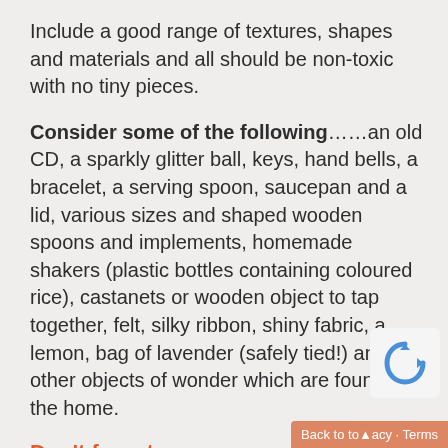Include a good range of textures, shapes and materials and all should be non-toxic with no tiny pieces.
Consider some of the following……an old CD, a sparkly glitter ball, keys, hand bells, a bracelet, a serving spoon, saucepan and a lid, various sizes and shaped wooden spoons and implements, homemade shakers (plastic bottles containing coloured rice), castanets or wooden object to tap together, felt, silky ribbon, shiny fabric, a lemon, bag of lavender (safely tied!) and other objects of wonder which are found in the home.
Don't forget …
it is an approach, not a prescription so the content of the baskets is up to you but will